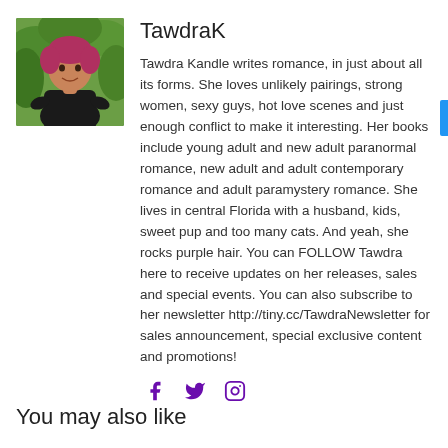[Figure (photo): Author photo of Tawdra Kandle, a woman with red/pink hair wearing a black top, seated outdoors with green foliage background]
TawdraK
Tawdra Kandle writes romance, in just about all its forms. She loves unlikely pairings, strong women, sexy guys, hot love scenes and just enough conflict to make it interesting. Her books include young adult and new adult paranormal romance, new adult and adult contemporary romance and adult paramystery romance. She lives in central Florida with a husband, kids, sweet pup and too many cats. And yeah, she rocks purple hair. You can FOLLOW Tawdra here to receive updates on her releases, sales and special events. You can also subscribe to her newsletter http://tiny.cc/TawdraNewsletter for sales announcement, special exclusive content and promotions!
[Figure (other): Social media icons: Facebook (f), Twitter (bird), Instagram (camera)]
You may also like